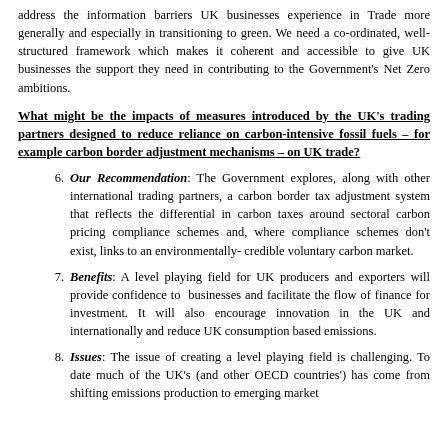address the information barriers UK businesses experience in Trade more generally and especially in transitioning to green. We need a co-ordinated, well-structured framework which makes it coherent and accessible to give UK businesses the support they need in contributing to the Government's Net Zero ambitions.
What might be the impacts of measures introduced by the UK's trading partners designed to reduce reliance on carbon-intensive fossil fuels – for example carbon border adjustment mechanisms – on UK trade?
6. Our Recommendation: The Government explores, along with other international trading partners, a carbon border tax adjustment system that reflects the differential in carbon taxes around sectoral carbon pricing compliance schemes and, where compliance schemes don't exist, links to an environmentally-credible voluntary carbon market.
7. Benefits: A level playing field for UK producers and exporters will provide confidence to businesses and facilitate the flow of finance for investment. It will also encourage innovation in the UK and internationally and reduce UK consumption based emissions.
8. Issues: The issue of creating a level playing field is challenging. To date much of the UK's (and other OECD countries') has come from shifting emissions production to emerging market